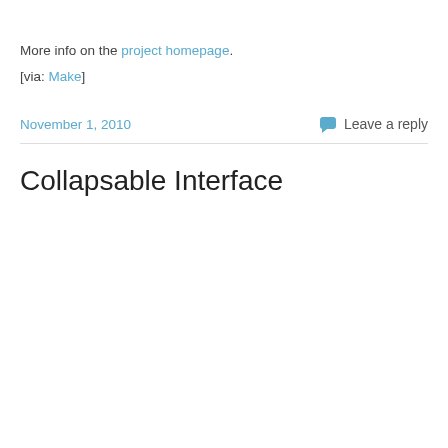More info on the project homepage. [via: Make]
November 1, 2010   Leave a reply
Collapsable Interface